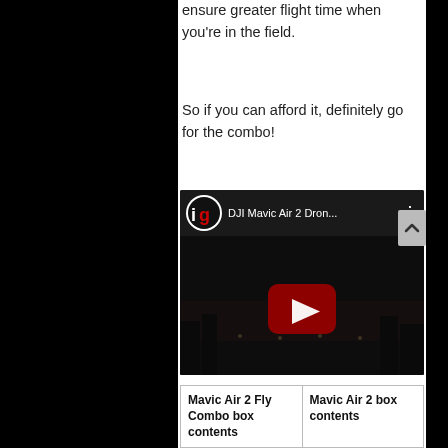ensure greater flight time when you're in the field.
So if you can afford it, definitely go for the combo!
[Figure (screenshot): YouTube video embed showing 'DJI Mavic Air 2 Dron...' with a dark thumbnail of a cityscape at dusk and a red play button in the center. The video header shows the ig (iJustine/similar) logo and a three-dot menu icon.]
| Mavic Air 2 Fly Combo box contents | Mavic Air 2 box contents |
| --- | --- |